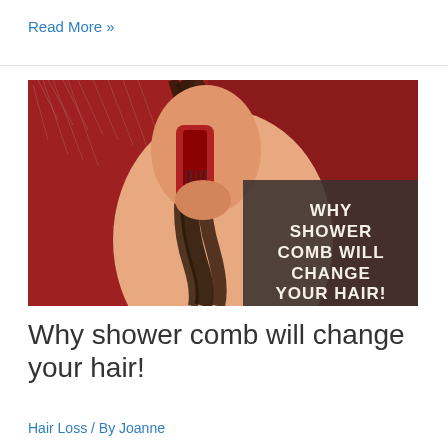Read More »
[Figure (photo): Woman in shower brushing wet hair with a red brush against a red background, with a dark overlay box containing text: WHY SHOWER COMB WILL CHANGE YOUR HAIR!]
Why shower comb will change your hair!
Hair Loss / By Joanne